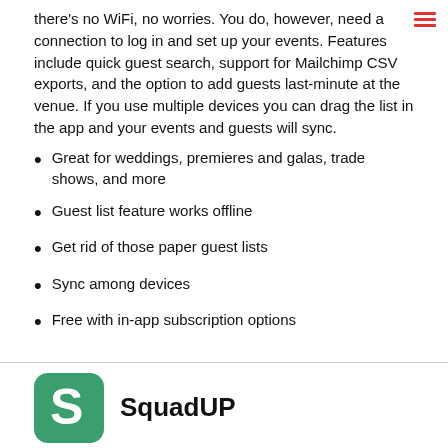there's no WiFi, no worries. You do, however, need a connection to log in and set up your events. Features include quick guest search, support for Mailchimp CSV exports, and the option to add guests last-minute at the venue. If you use multiple devices you can drag the list in the app and your events and guests will sync.
Great for weddings, premieres and galas, trade shows, and more
Guest list feature works offline
Get rid of those paper guest lists
Sync among devices
Free with in-app subscription options
SquadUP
[Figure (logo): SquadUP app icon — green rounded square with white S letter]